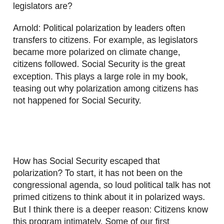legislators are?
Arnold: Political polarization by leaders often transfers to citizens. For example, as legislators became more polarized on climate change, citizens followed. Social Security is the great exception. This plays a large role in my book, teasing out why polarization among citizens has not happened for Social Security.
How has Social Security escaped that polarization? To start, it has not been on the congressional agenda, so loud political talk has not primed citizens to think about it in polarized ways. But I think there is a deeper reason: Citizens know this program intimately. Some of our first experiences with